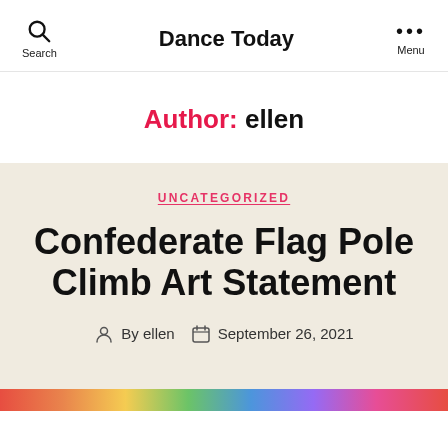Dance Today
Author: ellen
UNCATEGORIZED
Confederate Flag Pole Climb Art Statement
By ellen   September 26, 2021